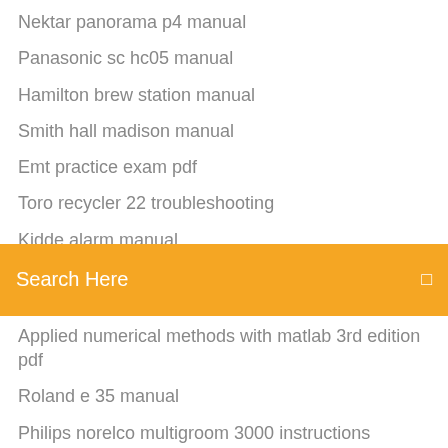Nektar panorama p4 manual
Panasonic sc hc05 manual
Hamilton brew station manual
Smith hall madison manual
Emt practice exam pdf
Toro recycler 22 troubleshooting
Kidde alarm manual
[Figure (screenshot): Search bar with orange/yellow background and text 'Search Here' in white]
Applied numerical methods with matlab 3rd edition pdf
Roland e 35 manual
Philips norelco multigroom 3000 instructions
Kip 3100 specs manual
Sx20 installation guide manual
Protocol slipstream battery manual
Panasonic pv dv953d manual
2003 chevy venture owners manual
Baratza virtuoso preciso manual
Nektar panorama p4 manual